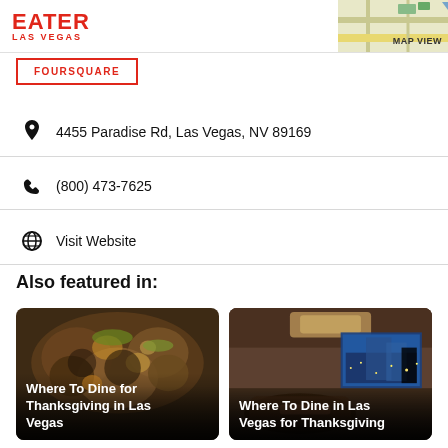EATER LAS VEGAS
MAP VIEW
FOURSQUARE
4455 Paradise Rd, Las Vegas, NV 89169
(800) 473-7625
Visit Website
Also featured in:
[Figure (photo): Food spread for Thanksgiving with caption 'Where To Dine for Thanksgiving in Las Vegas']
[Figure (photo): Restaurant interior with city view, caption 'Where To Dine in Las Vegas for Thanksgiving']